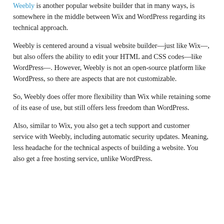Weebly is another popular website builder that in many ways, is somewhere in the middle between Wix and WordPress regarding its technical approach.
Weebly is centered around a visual website builder—just like Wix—, but also offers the ability to edit your HTML and CSS codes—like WordPress—. However, Weebly is not an open-source platform like WordPress, so there are aspects that are not customizable.
So, Weebly does offer more flexibility than Wix while retaining some of its ease of use, but still offers less freedom than WordPress.
Also, similar to Wix, you also get a tech support and customer service with Weebly, including automatic security updates. Meaning, less headache for the technical aspects of building a website. You also get a free hosting service, unlike WordPress.